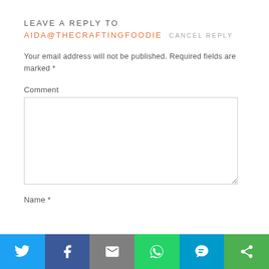LEAVE A REPLY TO
AIDA@THECRAFTINGFOODIE CANCEL REPLY
Your email address will not be published. Required fields are marked *
Comment
[Figure (screenshot): Comment text area input box]
Name *
[Figure (infographic): Social sharing bar with Twitter, Facebook, Email, WhatsApp, SMS, and other share buttons]